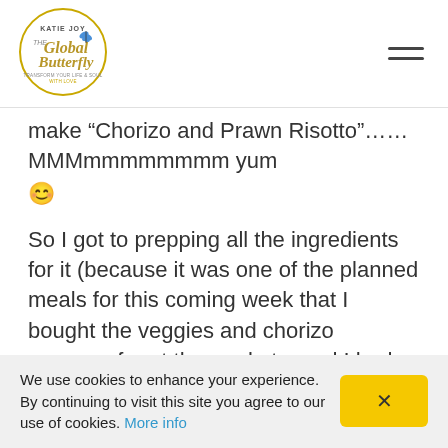[Figure (logo): Katie Joy The Global Butterfly logo — circular gold border with butterfly illustration and tagline 'Transform Your Life & Soul With Love']
make “Chorizo and Prawn Risotto”….. MMMmmmmmmmm yum 😊
So I got to prepping all the ingredients for it (because it was one of the planned meals for this coming week that I bought the veggies and chorizo sausage for at the markets, and I had prawns in the freezer. Many of you know I love to
We use cookies to enhance your experience. By continuing to visit this site you agree to our use of cookies. More info